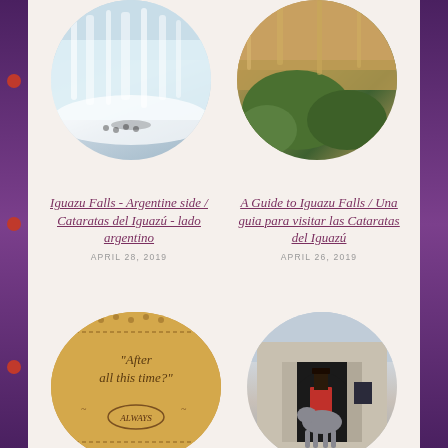[Figure (photo): Circular photo of Iguazu Falls from the Argentine side, misty waterfall scene]
[Figure (photo): Circular photo of Iguazu Falls close-up with green vegetation]
Iguazu Falls - Argentine side / Cataratas del Iguazú - lado argentino
APRIL 28, 2019
A Guide to Iguazu Falls / Una guia para visitar las Cataratas del Iguazú
APRIL 26, 2019
[Figure (photo): Circular photo of a Harry Potter themed luggage tag reading 'After all this time? ALWAYS']
[Figure (photo): Circular photo of a Royal Guard on horseback at a stone archway in London]